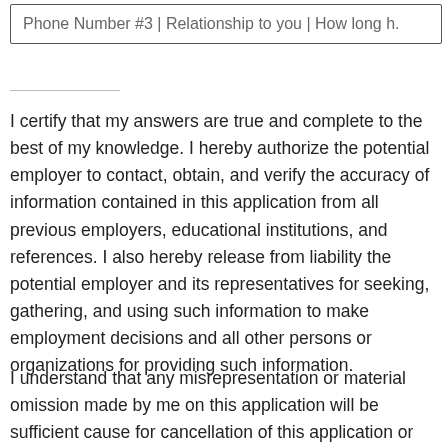| Phone Number #3 | Relationship to you | How long h. |
| --- | --- | --- |
I certify that my answers are true and complete to the best of my knowledge. I hereby authorize the potential employer to contact, obtain, and verify the accuracy of information contained in this application from all previous employers, educational institutions, and references. I also hereby release from liability the potential employer and its representatives for seeking, gathering, and using such information to make employment decisions and all other persons or organizations for providing such information.
I understand that any misrepresentation or material omission made by me on this application will be sufficient cause for cancellation of this application or